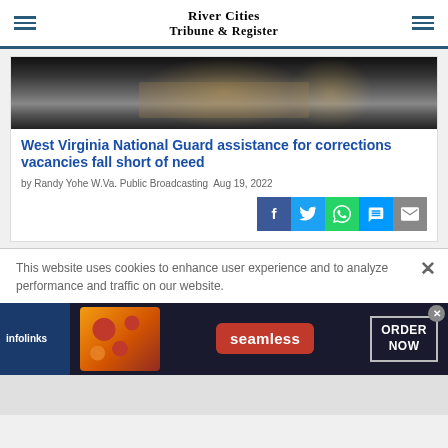River Cities Tribune & Register
[Figure (photo): Dark corridor or prison hallway with bright light fixtures, showing a figure in tan/beige clothing viewed from behind]
West Virginia National Guard assistance for corrections vacancies fall short of need
by Randy Yohe W.Va. Public Broadcasting  Aug 19, 2022
[Figure (infographic): Social share buttons: Facebook (blue), Twitter (light blue), WhatsApp (green), SMS/chat (blue), Email (gray)]
This website uses cookies to enhance user experience and to analyze performance and traffic on our website.
[Figure (infographic): Infolinks advertisement banner featuring pizza images on left, Seamless red logo in center, and ORDER NOW button on right, on dark background]